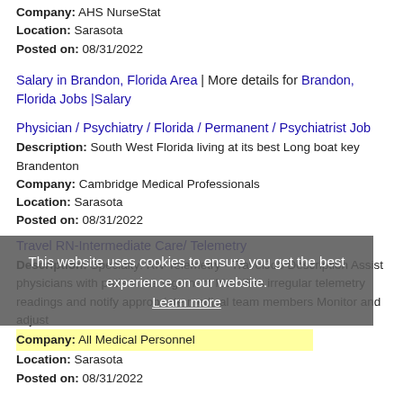Company: AHS NurseStat
Location: Sarasota
Posted on: 08/31/2022
Salary in Brandon, Florida Area | More details for Brandon, Florida Jobs |Salary
Physician / Psychiatry / Florida / Permanent / Psychiatrist Job
Description: South West Florida living at its best Long boat key Brandenton
Company: Cambridge Medical Professionals
Location: Sarasota
Posted on: 08/31/2022
Travel RN-Intermediate Care/ Telemetry
Description: Specialty: RN-Telemetry - TravelJob Description Assist physicians with patient management Identifies irregular telemetry readings and notify appropriate medical team members Monitor and adjust
Company: All Medical Personnel
Location: Sarasota
Posted on: 08/31/2022